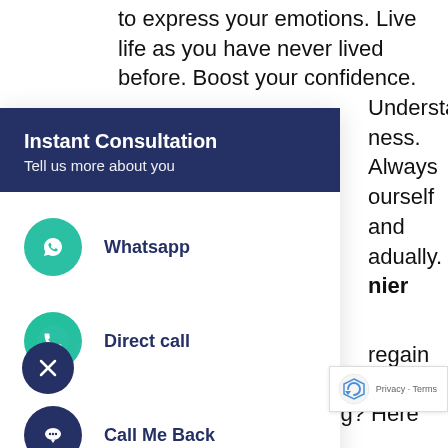to express your emotions. Live life as you have never lived before. Boost your confidence. Understand ness. Always ourself and adually. nier and regain your youth? Want to look young? Here is the opportunity to turn back your biological clock with the help of experts from The Holistic
[Figure (screenshot): Instant Consultation popup widget with header 'Instant Consultation / Tell us more about you' and three contact options: Whatsapp (teal circle with WhatsApp icon), Direct call (teal circle with phone icon), Call Me Back (dark blue circle with speech bubble icon). A dark blue close (X) button at the bottom left. A reCAPTCHA badge at the bottom right showing 'Privacy - Terms'.]